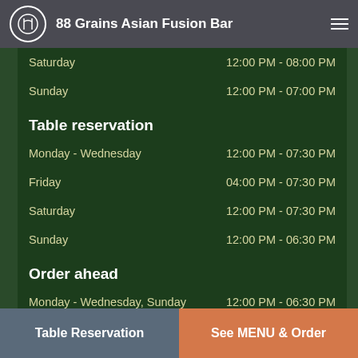88 Grains Asian Fusion Bar
Saturday    12:00 PM - 08:00 PM
Sunday    12:00 PM - 07:00 PM
Table reservation
Monday - Wednesday    12:00 PM - 07:30 PM
Friday    04:00 PM - 07:30 PM
Saturday    12:00 PM - 07:30 PM
Sunday    12:00 PM - 06:30 PM
Order ahead
Monday - Wednesday, Sunday    12:00 PM - 06:30 PM
Friday    04:00 PM - 07:30 PM
Saturday    12:00 PM - 07:30 PM
Friday    04:00 PM - 07:30 PM
Monday - Wednesday    12:00 PM - 07:30 PM
Friday    04:00 PM - 08:00 PM
Table Reservation | See MENU & Order